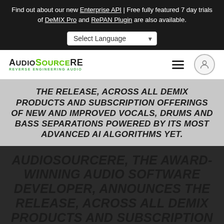Find out about our new Enterprise API | Free fully featured 7 day trials of DeMIX Pro and RePAN Plugin are also available.
Select Language
[Figure (logo): AudioSourceRE logo — AUDIO in dark, SOURCE in green, RE in dark, with tagline REVERSE ENGINEERING AUDIO]
THE RELEASE, ACROSS ALL DEMIX PRODUCTS AND SUBSCRIPTION OFFERINGS OF NEW AND IMPROVED VOCALS, DRUMS AND BASS SEPARATIONS POWERED BY ITS MOST ADVANCED AI ALGORITHMS YET.
AUDIOSOURCERE, THE AWARD-WINNING AUDIO SOFTWARE DEVELOPER, ANNOUNCES THE RELEASE, ACROSS ALL DEMIX PRODUCTS AND SUBSCRIPTION OFFERINGS OF NEW AND IMPROVED VOCALS, DRUMS AND BASS SEPARATIONS POWERED BY ITS MOST
Cookies? Accept Privacy Policy